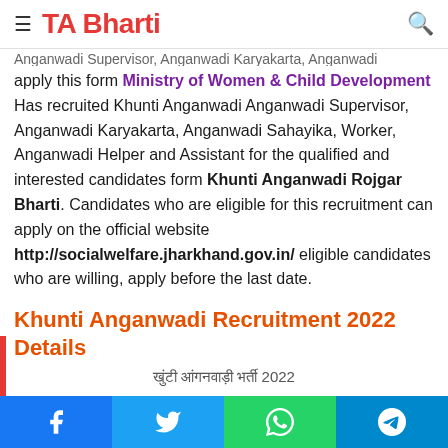TA Bharti
Anganwadi Supervisor, Anganwadi Karyakarta, Anganwadi Sahayika, Worker, Anganwadi Helper and Assistant. If you are qualified an 10th/12th pass then you are able to apply this form Ministry of Women & Child Development Has recruited Khunti Anganwadi Anganwadi Supervisor, Anganwadi Karyakarta, Anganwadi Sahayika, Worker, Anganwadi Helper and Assistant for the qualified and interested candidates form Khunti Anganwadi Rojgar Bharti. Candidates who are eligible for this recruitment can apply on the official website http://socialwelfare.jharkhand.gov.in/ eligible candidates who are willing, apply before the last date.
Khunti Anganwadi Recruitment 2022 Details
खुंटी आंगनवाड़ी भर्ती 2022